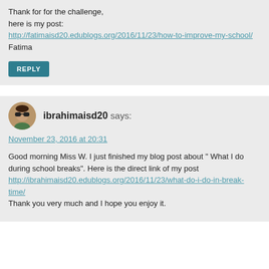Thank for for the challenge, here is my post: http://fatimaisd20.edublogs.org/2016/11/23/how-to-improve-my-school/ Fatima
REPLY
ibrahimaisd20 says:
November 23, 2016 at 20:31
Good morning Miss W. I just finished my blog post about " What I do during school breaks". Here is the direct link of my post http://ibrahimaisd20.edublogs.org/2016/11/23/what-do-i-do-in-break-time/ Thank you very much and I hope you enjoy it.